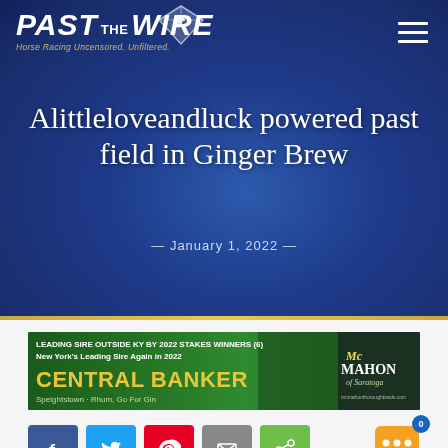[Figure (logo): Past The Wire logo with diamond and horse silhouette icon, tagline 'Horse Racing Uncensored. Unfiltered.']
Alittleloveandluck powered past field in Ginger Brew
— January 1, 2022 —
[Figure (photo): McMahon of Saratoga advertisement banner: 'LEADING SIRE OUTSIDE KY BY 2022 STAKES WINNERS (6) New York's Leading Sire Again in 2022 CENTRAL BANKER Speightstown - Rhum, Go For Gin']
[Figure (infographic): Social sharing buttons: Facebook, Twitter, Pinterest, Email, Share, and chat bubble with 0 badge]